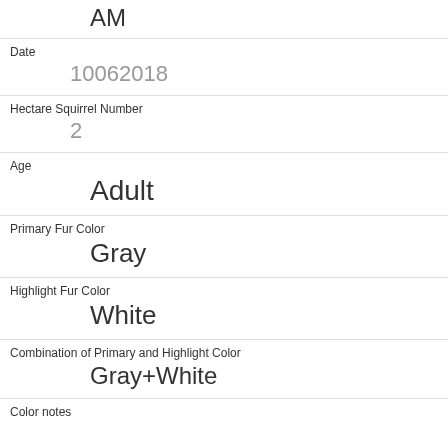AM
Date
10062018
Hectare Squirrel Number
2
Age
Adult
Primary Fur Color
Gray
Highlight Fur Color
White
Combination of Primary and Highlight Color
Gray+White
Color notes
Location
Ground Plane
Above Ground Sighter Measurement
FALSE
Specific Location